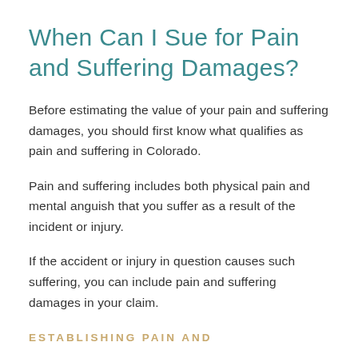When Can I Sue for Pain and Suffering Damages?
Before estimating the value of your pain and suffering damages, you should first know what qualifies as pain and suffering in Colorado.
Pain and suffering includes both physical pain and mental anguish that you suffer as a result of the incident or injury.
If the accident or injury in question causes such suffering, you can include pain and suffering damages in your claim.
ESTABLISHING PAIN AND